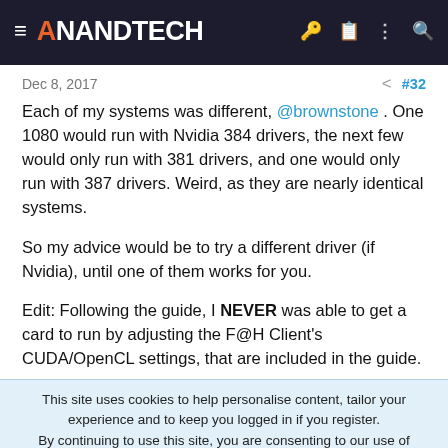AnandTech
Dec 8, 2017    #32
Each of my systems was different, @brownstone . One 1080 would run with Nvidia 384 drivers, the next few would only run with 381 drivers, and one would only run with 387 drivers. Weird, as they are nearly identical systems.

So my advice would be to try a different driver (if Nvidia), until one of them works for you.

Edit: Following the guide, I NEVER was able to get a card to run by adjusting the F@H Client's CUDA/OpenCL settings, that are included in the guide.
This site uses cookies to help personalise content, tailor your experience and to keep you logged in if you register.
By continuing to use this site, you are consenting to our use of cookies.
[Figure (screenshot): Tech Leadership Awards 2022 advertisement banner with teal/dark background, nominate today button]